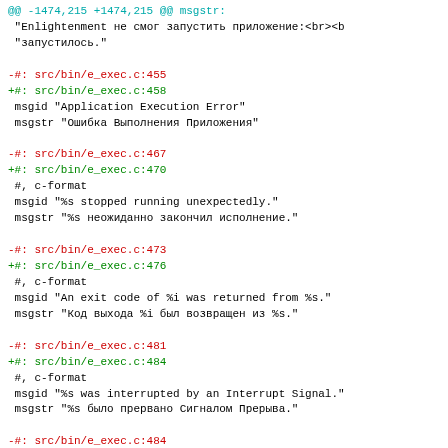Diff code showing gettext PO file changes for e_exec.c with Russian translations
-#: src/bin/e_exec.c:455
+#: src/bin/e_exec.c:458
 msgid "Application Execution Error"
 msgstr "Ошибка Выполнения Приложения"

-#: src/bin/e_exec.c:467
+#: src/bin/e_exec.c:470
 #, c-format
 msgid "%s stopped running unexpectedly."
 msgstr "%s неожиданно закончил исполнение."

-#: src/bin/e_exec.c:473
+#: src/bin/e_exec.c:476
 #, c-format
 msgid "An exit code of %i was returned from %s."
 msgstr "Код выхода %i был возвращен из %s."

-#: src/bin/e_exec.c:481
+#: src/bin/e_exec.c:484
 #, c-format
 msgid "%s was interrupted by an Interrupt Signal."
 msgstr "%s было прервано Сигналом Прерыва."

-#: src/bin/e_exec.c:484
+#: src/bin/e_exec.c:487
 #, c-format
 msgid "%s was interrupted by a Quit Signal."